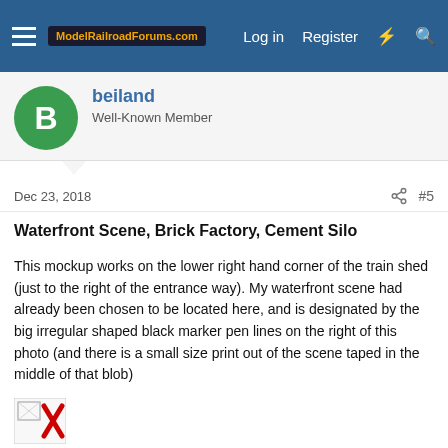ModelRailroadForums.com  Log in  Register
beiland
Well-Known Member
Dec 23, 2018  #5
Waterfront Scene, Brick Factory, Cement Silo
This mockup works on the lower right hand corner of the train shed (just to the right of the entrance way). My waterfront scene had already been chosen to be located here, and is designated by the big irregular shaped black marker pen lines on the right of this photo (and there is a small size print out of the scene taped in the middle of that blob)
[Figure (photo): Broken image icon (red X placeholder)]